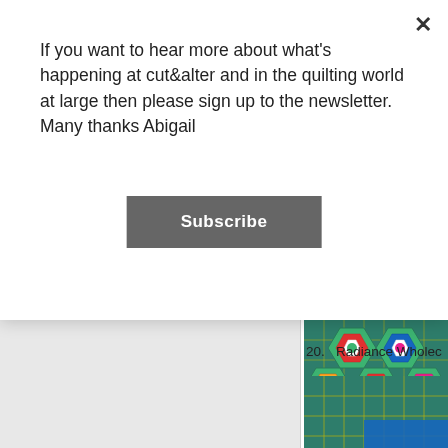If you want to hear more about what's happening at cut&alter and in the quilting world at large then please sign up to the newsletter. Many thanks Abigail
Subscribe
[Figure (photo): Colorful crocheted hexagon granny squares in various colors (red, blue, yellow, white, pink, green) laid on a green cutting mat]
20.  Radiance Wholec
[Figure (photo): Green quilting cutting mat with yellow grid lines, partially visible colored fabric]